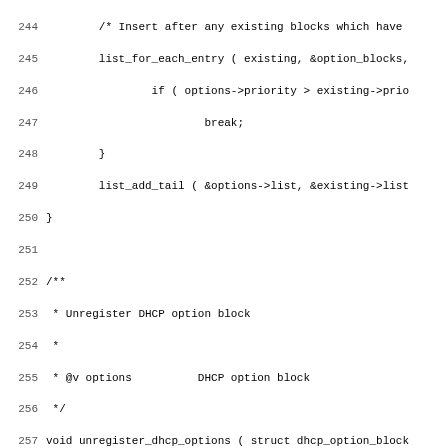Source code listing lines 244-275, showing C functions for DHCP option block registration and initialization.